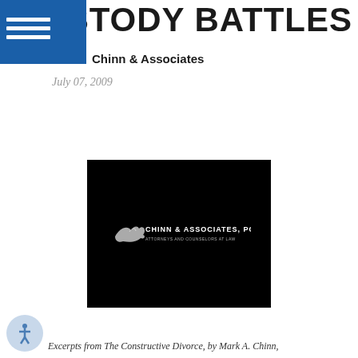CUSTODY BATTLES
Chinn & Associates
July 07, 2009
[Figure (logo): Chinn & Associates PC law firm logo on black background — shows a bird/eagle graphic with text 'CHINN & ASSOCIATES, PC' and 'ATTORNEYS AND COUNSELORS AT LAW']
Excerpts from The Constructive Divorce, by Mark A. Chinn,